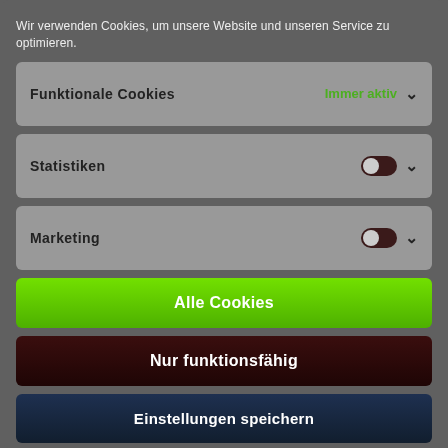Wir verwenden Cookies, um unsere Website und unseren Service zu optimieren.
Funktionale Cookies — Immer aktiv
Statistiken
Marketing
Alle Cookies
Nur funktionsfähig
Einstellungen speichern
Cookie Policy   Datenschutz und Impressum   Datenschutz und Impressum